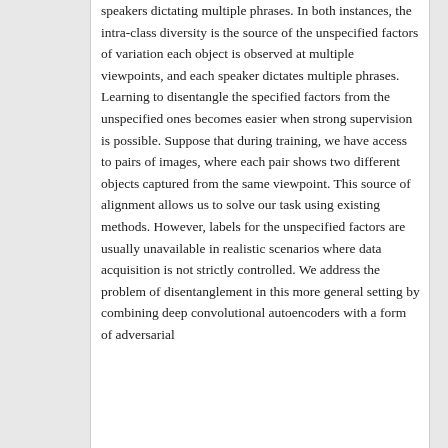speakers dictating multiple phrases. In both instances, the intra-class diversity is the source of the unspecified factors of variation each object is observed at multiple viewpoints, and each speaker dictates multiple phrases. Learning to disentangle the specified factors from the unspecified ones becomes easier when strong supervision is possible. Suppose that during training, we have access to pairs of images, where each pair shows two different objects captured from the same viewpoint. This source of alignment allows us to solve our task using existing methods. However, labels for the unspecified factors are usually unavailable in realistic scenarios where data acquisition is not strictly controlled. We address the problem of disentanglement in this more general setting by combining deep convolutional autoencoders with a form of adversarial